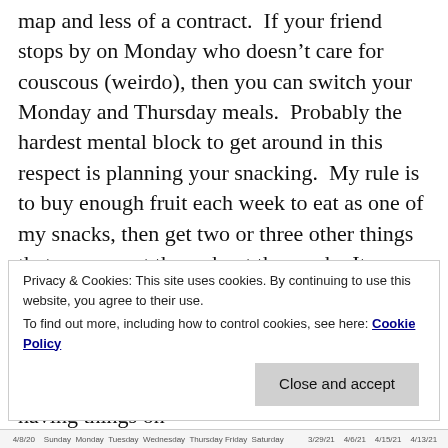map and less of a contract.  If your friend stops by on Monday who doesn't care for couscous (weirdo), then you can switch your Monday and Thursday meals.  Probably the hardest mental block to get around in this respect is planning your snacking.  My rule is to buy enough fruit each week to eat as one of my snacks, then get two or three other things that we can eat throughout the week.  It doesn't matter really which days I end up eating those snacks, but writing it down helps me to visualize how much of each thing I will need to buy.  Plus, if you love snacks like I do, having things on
Privacy & Cookies: This site uses cookies. By continuing to use this website, you agree to their use.
To find out more, including how to control cookies, see here: Cookie Policy
Close and accept